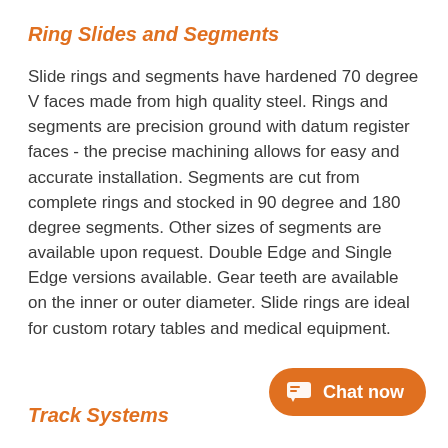Ring Slides and Segments
Slide rings and segments have hardened 70 degree V faces made from high quality steel. Rings and segments are precision ground with datum register faces - the precise machining allows for easy and accurate installation. Segments are cut from complete rings and stocked in 90 degree and 180 degree segments. Other sizes of segments are available upon request. Double Edge and Single Edge versions available. Gear teeth are available on the inner or outer diameter. Slide rings are ideal for custom rotary tables and medical equipment.
Track Systems